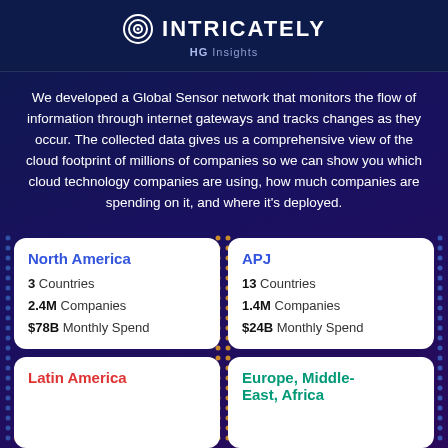INTRICATELY HG Insights
We developed a Global Sensor network that monitors the flow of information through internet gateways and tracks changes as they occur. The collected data gives us a comprehensive view of the cloud footprint of millions of companies so we can show you which cloud technology companies are using, how much companies are spending on it, and where it's deployed.
North America
3 Countries
2.4M Companies
$78B Monthly Spend
APJ
13 Countries
1.4M Companies
$24B Monthly Spend
Latin America
Europe, Middle-East, Africa